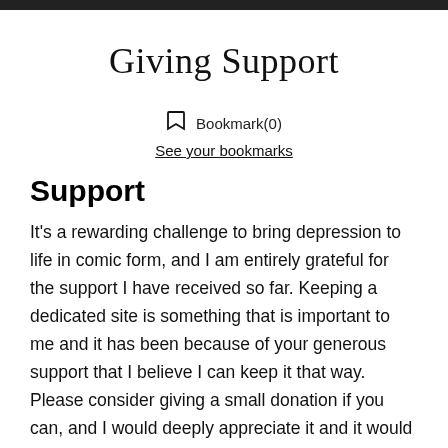Giving Support
Bookmark(0)
See your bookmarks
Support
It's a rewarding challenge to bring depression to life in comic form, and I am entirely grateful for the support I have received so far. Keeping a dedicated site is something that is important to me and it has been because of your generous support that I believe I can keep it that way. Please consider giving a small donation if you can, and I would deeply appreciate it and it would mean a lot to me